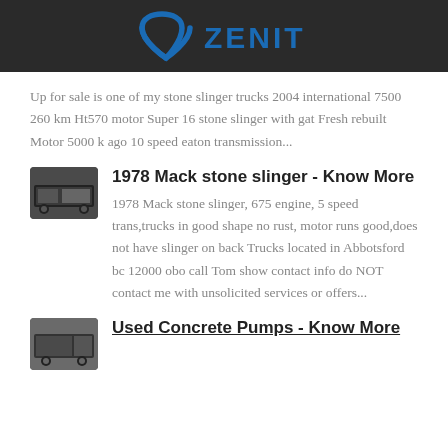ZENIT
Up for sale is one of my stone slinger trucks 2004 international 7500 260 km Ht570 motor Super 16 stone slinger with gat Fresh rebuilt Motor 5000 k ago 10 speed eaton transmission...
1978 Mack stone slinger - Know More
1978 Mack stone slinger, 675 engine, 5 speed trans,trucks in good shape no rust, motor runs good,does not have slinger on back Trucks located in Abbotsford bc 12000 obo call Tom show contact info do NOT contact me with unsolicited services or offers...
Used Concrete Pumps - Know More